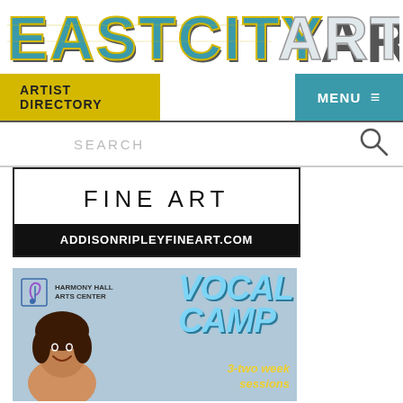[Figure (logo): EastCityArt logo in large bold block letters with teal and gold/yellow colors and a 3D shadow effect]
ARTIST DIRECTORY
MENU ≡
SEARCH
[Figure (illustration): Fine Art advertisement: white box with 'FINE ART' text in spaced black letters, below a black strip with 'ADDISONRIPLEYFINEART.COM' in white bold caps]
[Figure (illustration): Harmony Hall Arts Center Vocal Camp advertisement: blue-grey background with a young person smiling, logo in top left, 'VOCAL CAMP' in large teal letters, '3-two week sessions' in yellow italic text]